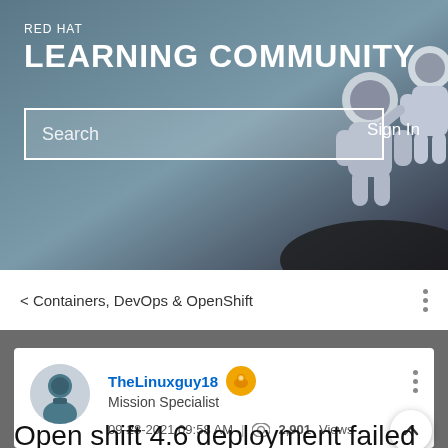RED HAT LEARNING COMMUNITY
Search
Sign In
< Containers, DevOps & OpenShift
TheLinuxguy18
Mission Specialist
09-28-2021 09:58 AM  |  2,901 Views
Open shift 4.6 deployment failed